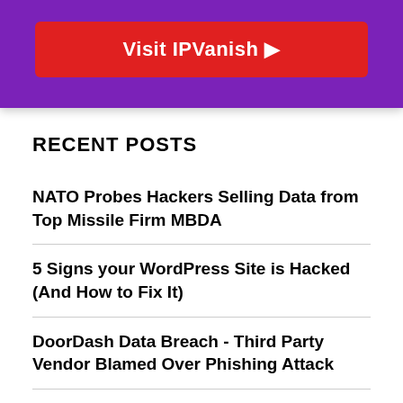[Figure (other): Purple banner with red 'Visit IPVanish' button]
RECENT POSTS
NATO Probes Hackers Selling Data from Top Missile Firm MBDA
5 Signs your WordPress Site is Hacked (And How to Fix It)
DoorDash Data Breach - Third Party Vendor Blamed Over Phishing Attack
Scammers Made Deepfake AI Hologram of Binance Executive